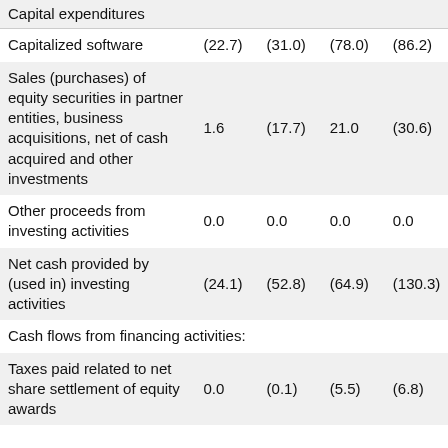|  |  |  |  |  |
| --- | --- | --- | --- | --- |
| Capital expenditures |  |  |  |  |
| Capitalized software | (22.7) | (31.0) | (78.0) | (86.2) |
| Sales (purchases) of equity securities in partner entities, business acquisitions, net of cash acquired and other investments | 1.6 | (17.7) | 21.0 | (30.6) |
| Other proceeds from investing activities | 0.0 | 0.0 | 0.0 | 0.0 |
| Net cash provided by (used in) investing activities | (24.1) | (52.8) | (64.9) | (130.3) |
| Cash flows from financing activities: |  |  |  |  |
| Taxes paid related to net share settlement of equity awards | 0.0 | (0.1) | (5.5) | (6.8) |